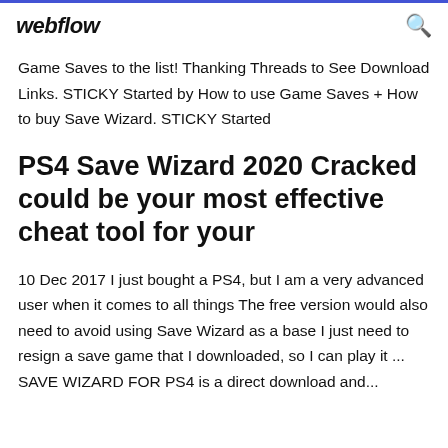webflow
Game Saves to the list! Thanking Threads to See Download Links. STICKY Started by How to use Game Saves + How to buy Save Wizard. STICKY Started
PS4 Save Wizard 2020 Cracked could be your most effective cheat tool for your
10 Dec 2017 I just bought a PS4, but I am a very advanced user when it comes to all things The free version would also need to avoid using Save Wizard as a base I just need to resign a save game that I downloaded, so I can play it ... SAVE WIZARD FOR PS4 is a direct download and...